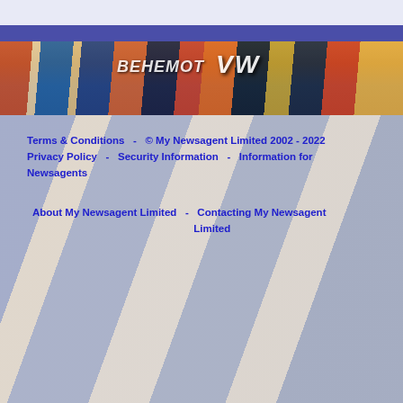[Figure (photo): Magazine rack banner image showing colorful magazine covers including text 'BEHEMOT', 'VW', and others, with a purple/blue stripe above it]
Terms & Conditions   -   © My Newsagent Limited 2002 - 2022   Privacy Policy   -   Security Information   -   Information for Newsagents
About My Newsagent Limited   -   Contacting My Newsagent Limited